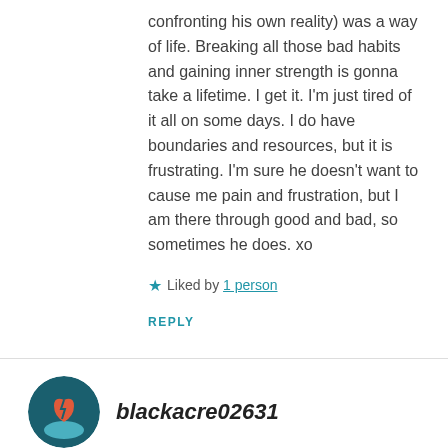confronting his own reality) was a way of life. Breaking all those bad habits and gaining inner strength is gonna take a lifetime. I get it. I'm just tired of it all on some days. I do have boundaries and resources, but it is frustrating. I'm sure he doesn't want to cause me pain and frustration, but I am there through good and bad, so sometimes he does. xo
Liked by 1 person
REPLY
blackacre02631